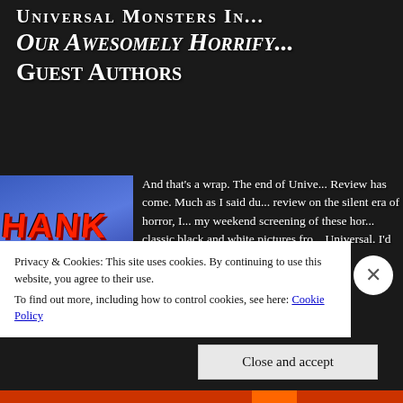UNIVERSAL MONSTERS IN... Our Awesomely Horrify... Guest Authors
[Figure (photo): A blue background image with bold red 'HANK YO' (partial 'THANK YOU') text in large red impact-style letters, partially cropped.]
And that's a wrap. The end of Unive... Review has come. Much as I said du... review on the silent era of horror, I... my weekend screening of these hor... classic black and white pictures fro... Universal. I'd like to actually start n... end... y o...
Privacy & Cookies: This site uses cookies. By continuing to use this website, you agree to their use.
To find out more, including how to control cookies, see here: Cookie Policy
Close and accept